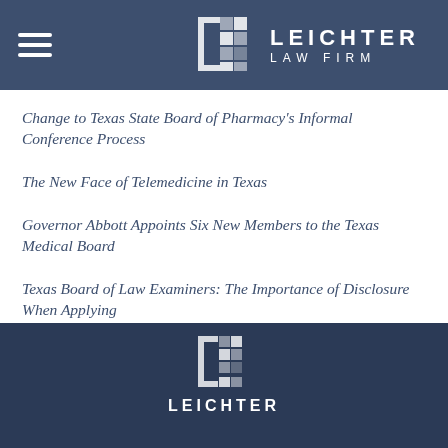LEICHTER LAW FIRM
Change to Texas State Board of Pharmacy's Informal Conference Process
The New Face of Telemedicine in Texas
Governor Abbott Appoints Six New Members to the Texas Medical Board
Texas Board of Law Examiners: The Importance of Disclosure When Applying
LEICHTER